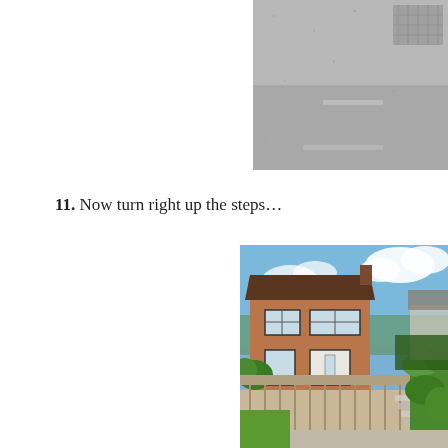[Figure (photo): Photo of a tarmac road surface, partially visible at the top right of the page, cropped.]
11. Now turn right up the steps…
[Figure (photo): Photo of a red brick two-storey house with a brown tiled roof, white windows, a wooden fence in the foreground, green hedges on the right, steps visible along the path, and a blue sky with white clouds in the background.]